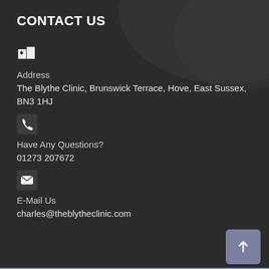CONTACT US
[Figure (illustration): Map/location pin icon in white on dark background]
Address
The Blythe Clinic, Brunswick Terrace, Hove, East Sussex, BN3 1HJ
[Figure (illustration): Phone/telephone handset icon in white on dark background]
Have Any Questions?
01273 207672
[Figure (illustration): Envelope/email icon in white on dark background]
E-Mail Us
charles@theblytheclinic.com